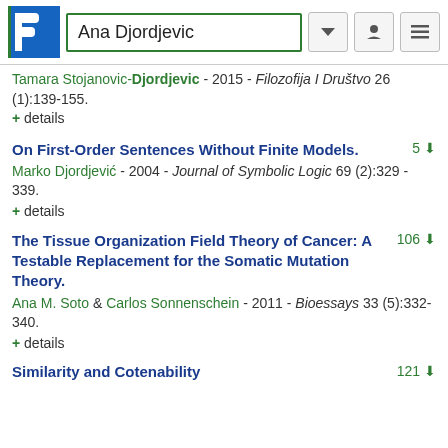Ana Djordjevic
Tamara Stojanovic-Djordjevic - 2015 - Filozofija I Društvo 26 (1):139-155.
+ details
On First-Order Sentences Without Finite Models.
Marko Djordjević - 2004 - Journal of Symbolic Logic 69 (2):329 - 339.
+ details
The Tissue Organization Field Theory of Cancer: A Testable Replacement for the Somatic Mutation Theory.
Ana M. Soto & Carlos Sonnenschein - 2011 - Bioessays 33 (5):332-340.
+ details
Similarity and Cotenability